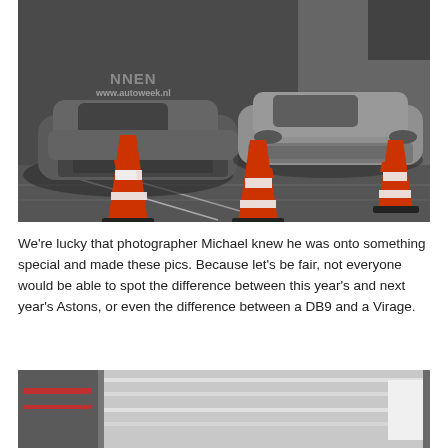[Figure (photo): Two silver Aston Martin cars (DB9 and Virage) parked in a parking garage with orange and white traffic cones in the foreground. A watermark reading 'www.autoweek.nl' is visible on the image.]
We're lucky that photographer Michael knew he was onto something special and made these pics. Because let's be fair, not everyone would be able to spot the difference between this year's and next year's Astons, or even the difference between a DB9 and a Virage.
[Figure (photo): Interior of a parking garage showing ceiling infrastructure with pipes and ceiling panels, dimly lit.]